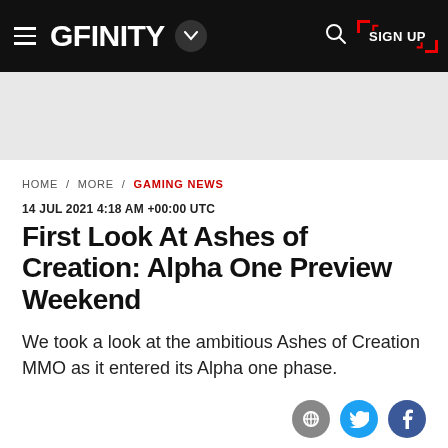GFINITY
HOME / MORE / GAMING NEWS
14 JUL 2021 4:18 AM +00:00 UTC
First Look At Ashes of Creation: Alpha One Preview Weekend
We took a look at the ambitious Ashes of Creation MMO as it entered its Alpha one phase.